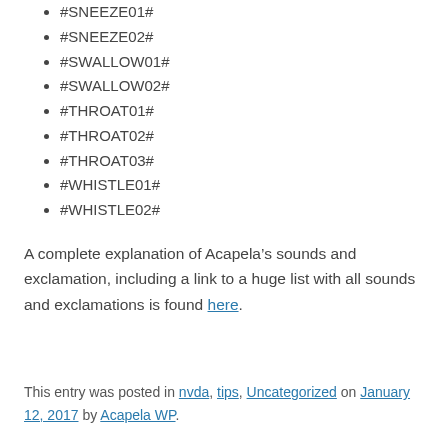#SNEEZE01#
#SNEEZE02#
#SWALLOW01#
#SWALLOW02#
#THROAT01#
#THROAT02#
#THROAT03#
#WHISTLE01#
#WHISTLE02#
A complete explanation of Acapela’s sounds and exclamation, including a link to a huge list with all sounds and exclamations is found here.
This entry was posted in nvda, tips, Uncategorized on January 12, 2017 by Acapela WP.